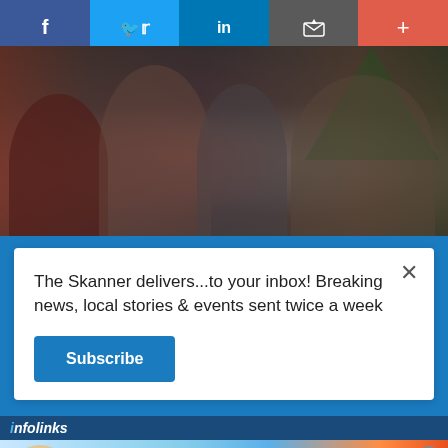[Figure (other): Social media sharing bar with Facebook, Twitter, LinkedIn, email/bookmark, and plus buttons]
[Figure (photo): Group of four people at a holiday/Christmas party holding wine glasses, wearing festive attire, with a Christmas tree visible in the background]
The Skanner delivers...to your inbox! Breaking news, local stories & events sent twice a week
Subscribe
[Figure (other): Infolinks advertisement logo bar]
[Figure (other): Animated cat game advertisement banner with colorful cartoon cats and 'ADOPT A CAT NOW' text]
[Figure (other): Solar panel advertisement in Spanish: 'INDEPENDENT POWUR CONSULTANT - PANELES SOLARES + BATERIA - SE BUSCAN VENDEDORES - 310-467-5410 - OBTENG UN BONO INSTALACI... $1,000 CASH']